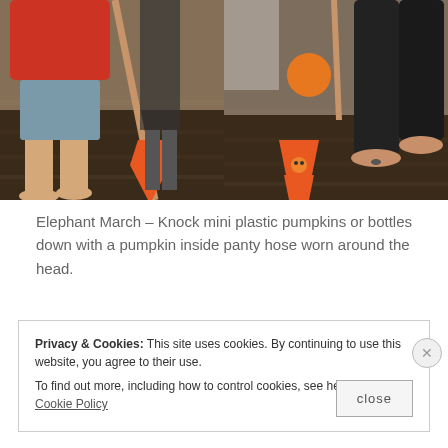[Figure (photo): Two side-by-side photos showing children and adults playing Elephant March game. Left photo: a child in red shirt and grey shorts using a long stick/pole near orange cups on a dark wood floor. Right photo: an adult's legs in black leggings with an orange cup and ball on a dark wood floor.]
Elephant March – Knock mini plastic pumpkins or bottles down with a pumpkin inside panty hose worn around the head.
Privacy & Cookies: This site uses cookies. By continuing to use this website, you agree to their use.
To find out more, including how to control cookies, see here: Our Cookie Policy